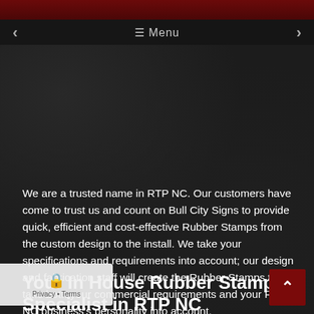≡ Menu
We are a trusted name in RTP NC. Our customers have come to trust us and count on Bull City Signs to provide quick, efficient and cost-effective Rubber Stamps from the custom design to the install. We take your specifications and requirements into account; our design and fabrication staff will create the Rubber Stamps that take both your commercial requirements and your RTP NC business's personality into account.
Your In House Rubber Stamps Specialist in RTP NC